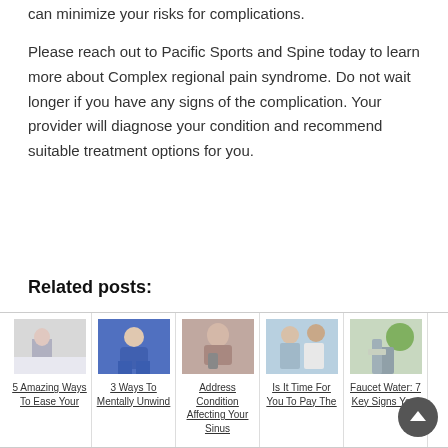can minimize your risks for complications.
Please reach out to Pacific Sports and Spine today to learn more about Complex regional pain syndrome. Do not wait longer if you have any signs of the complication. Your provider will diagnose your condition and recommend suitable treatment options for you.
Related posts:
[Figure (photo): 5 small thumbnail images of related blog posts showing: person tying shoe, person crouching in jeans, woman on phone distressed, doctor with patient, hands near plant/faucet]
5 Amazing Ways To Ease Your
3 Ways To Mentally Unwind
Address Condition Affecting Your Sinus
Is It Time For You To Pay The
Faucet Water: 7 Key Signs Your